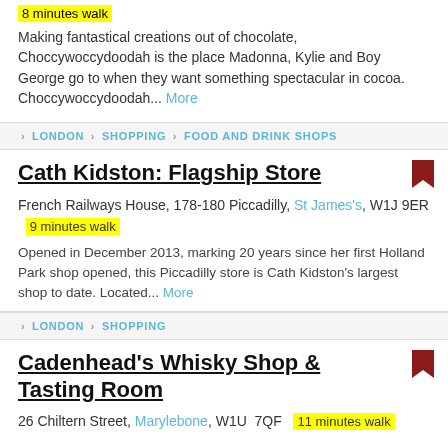8 minutes walk
Making fantastical creations out of chocolate, Choccywoccydoodah is the place Madonna, Kylie and Boy George go to when they want something spectacular in cocoa. Choccywoccydoodah... More
> LONDON > SHOPPING > FOOD AND DRINK SHOPS
Cath Kidston: Flagship Store
French Railways House, 178-180 Piccadilly, St James's, W1J 9ER  9 minutes walk
Opened in December 2013, marking 20 years since her first Holland Park shop opened, this Piccadilly store is Cath Kidston's largest shop to date. Located... More
> LONDON > SHOPPING
Cadenhead's Whisky Shop & Tasting Room
26 Chiltern Street, Marylebone, W1U 7QF  11 minutes walk